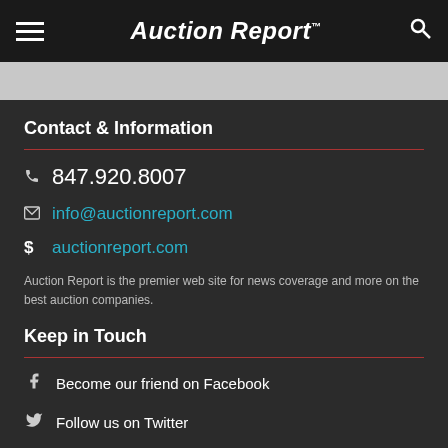Auction Report™
Contact & Information
847.920.8007
info@auctionreport.com
auctionreport.com
Auction Report is the premier web site for news coverage and more on the best auction companies.
Keep in Touch
Become our friend on Facebook
Follow us on Twitter